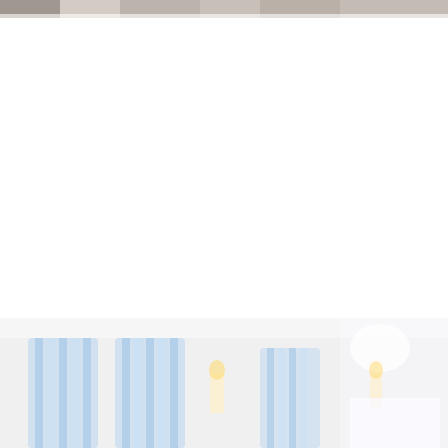[Figure (photo): Top strip: a partially visible photograph of what appears to be an outdoor or indoor event scene, showing a blurred/overexposed image at the very top of the page.]
rainonatinroof.com
[Figure (photo): Bottom portion: a photograph showing chairs with blue and white striped fabric covers/sashes arranged at what appears to be a formal event or wedding, with a yellow floral arrangement visible on the right side and a light/candle in the center.]